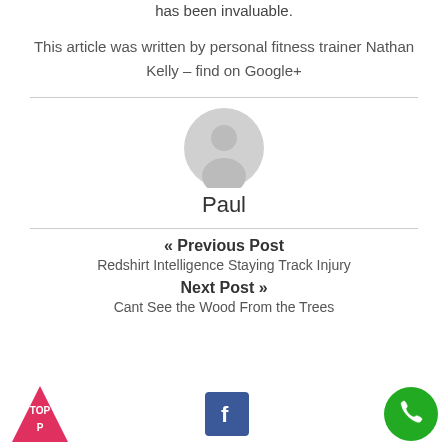flexibility and mobility of my personal training clients has been invaluable.
This article was written by personal fitness trainer Nathan Kelly – find on Google+
[Figure (illustration): Generic user avatar icon in gray]
Paul
« Previous Post
Redshirt Intelligence Staying Track Injury
Next Post »
Cant See the Wood From the Trees
[Figure (logo): Red triangle TOP badge]
[Figure (logo): Facebook icon button]
[Figure (logo): Green phone call button]